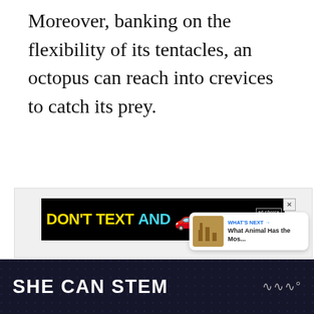Moreover, banking on the flexibility of its tentacles, an octopus can reach into crevices to catch its prey.
[Figure (screenshot): Advertisement banner with black background showing 'DON'T TEXT AND' in yellow and cyan text with a red car emoji, ad choice icon and NHTSA logo. Below is a light gray content area with a like button (blue circle with heart icon), a count of 1, a share button, and a 'WHAT'S NEXT' panel with thumbnail and text 'What Animal Has the Mos...']
[Figure (infographic): Dark footer banner with text 'SHE CAN STEM' in bold white letters and a logo on the right side on a dark navy/black background with subtle dot pattern]